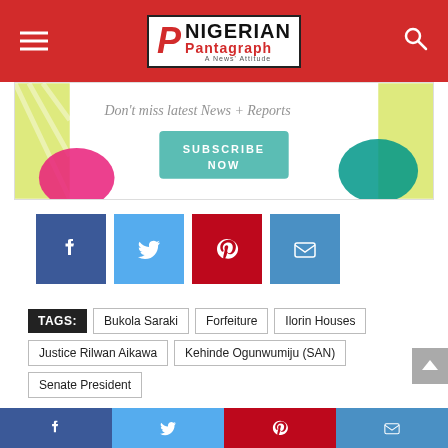Nigerian Pantagraph - A News' Attitude
[Figure (infographic): Subscribe Now promotional banner with colorful geometric shapes, italic text 'Don't miss latest news + Reports', and a teal 'SUBSCRIBE NOW' button]
[Figure (infographic): Social share buttons: Facebook (blue), Twitter (light blue), Pinterest (red), Email (blue)]
TAGS: Bukola Saraki | Forfeiture | Ilorin Houses | Justice Rilwan Aikawa | Kehinde Ogunwumiju (SAN) | Senate President
RELATED ARTICLES
Social share bar: Facebook, Twitter, Pinterest, Email